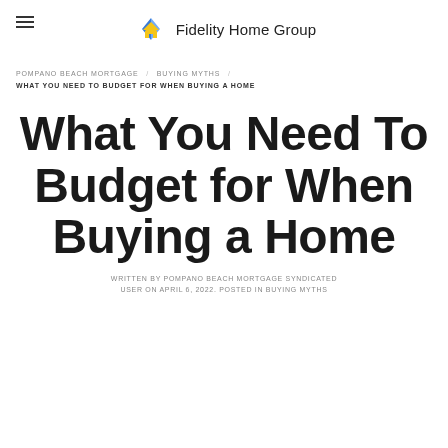Fidelity Home Group
POMPANO BEACH MORTGAGE / BUYING MYTHS / WHAT YOU NEED TO BUDGET FOR WHEN BUYING A HOME
What You Need To Budget for When Buying a Home
WRITTEN BY POMPANO BEACH MORTGAGE SYNDICATED USER ON APRIL 6, 2022. POSTED IN BUYING MYTHS